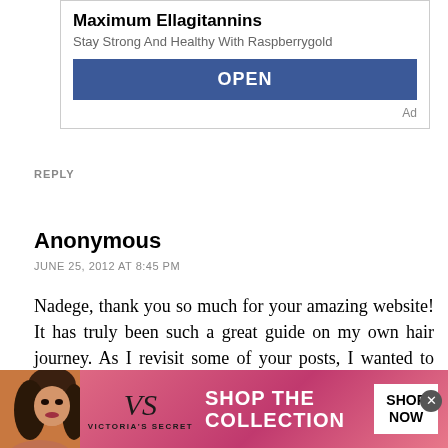[Figure (screenshot): Top advertisement for Maximum Ellagitannins / Raspberrygold with blue OPEN button and Ad label]
REPLY
Anonymous
JUNE 25, 2012 AT 8:45 PM
Nadege, thank you so much for your amazing website! It has truly been such a great guide on my own hair journey. As I revisit some of your posts, I wanted to ask if you are still suffering from your dandruff/seborrheic dermatitis or have you been able to rid your scalp of this? If so, can you provide me with some key pointers? Thank you again
[Figure (screenshot): Bottom banner advertisement for Victoria's Secret Shop The Collection with woman's photo and SHOP NOW button]